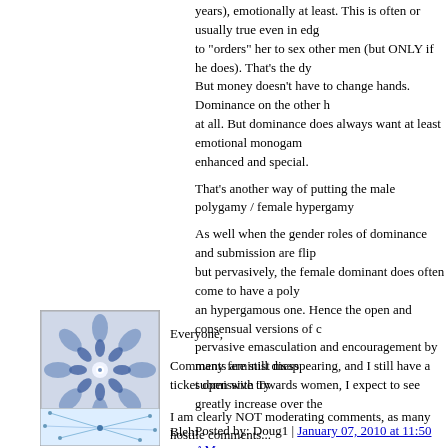years), emotionally at least. This is often or usually true even in edg... to "orders" her to sex other men (but ONLY if he does). That's the dy... But money doesn't have to change hands. Dominance on the other h... at all. But dominance does always want at least emotional monogam... enhanced and special.
That's another way of putting the male polygamy / female hypergamy...
As well when the gender roles of dominance and submission are flip... but pervasively, the female dominant does often come to have a poly... an hypergamous one. Hence the open and consensual versions of c... pervasive emasculation and encouragement by many feminist mess... submissive towards women, I expect to see greatly increase over the...
Posted by: Doug1 | January 07, 2010 at 11:50 AM
[Figure (illustration): Avatar image with geometric snowflake/star pattern in blue and white]
Everyone,
Comments are still disappearing, and I still have a ticket open with Ty...
I am clearly NOT moderating comments, as many hostile comments... disappearing.
Doug1,
Thanks. A learned much about the legal subject matter present here,...
Posted by: The Futurist | January 07, 2010 at 01:04 PM
[Figure (illustration): Avatar image with abstract blue network/lines pattern]
Bleh: